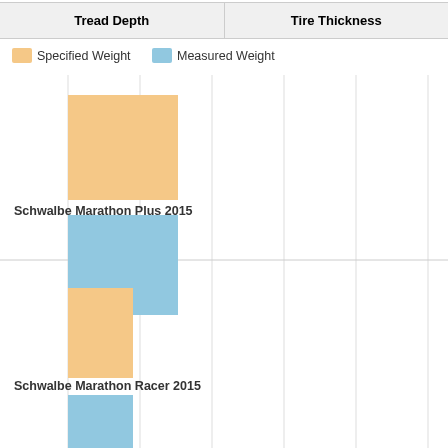| Tread Depth | Tire Thickness |
| --- | --- |
[Figure (grouped-bar-chart): Tread Depth - Schwalbe Marathon Plus 2015 and Schwalbe Marathon Racer 2015]